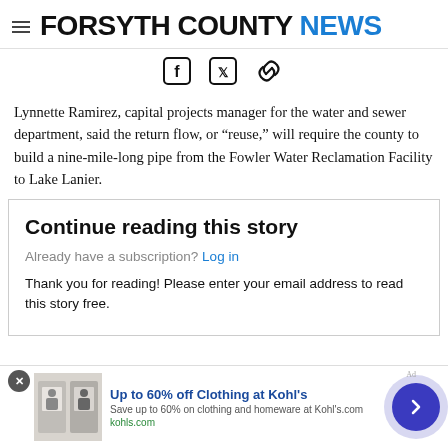FORSYTH COUNTY NEWS
[Figure (other): Social share icons: Facebook, Twitter, link/chain]
Lynnette Ramirez, capital projects manager for the water and sewer department, said the return flow, or “reuse,” will require the county to build a nine-mile-long pipe from the Fowler Water Reclamation Facility to Lake Lanier.
Continue reading this story
Already have a subscription? Log in
Thank you for reading! Please enter your email address to read this story free.
[Figure (other): Advertisement banner: Up to 60% off Clothing at Kohl's. Save up to 60% on clothing and homeware at Kohl's.com — kohls.com]